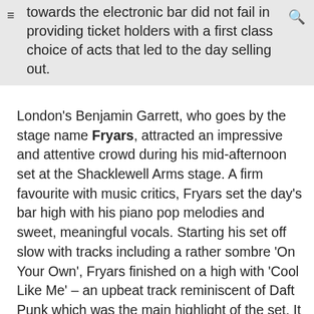towards the electronic bar did not fail in providing ticket holders with a first class choice of acts that led to the day selling out.
London's Benjamin Garrett, who goes by the stage name Fryars, attracted an impressive and attentive crowd during his mid-afternoon set at the Shacklewell Arms stage. A firm favourite with music critics, Fryars set the day's bar high with his piano pop melodies and sweet, meaningful vocals. Starting his set off slow with tracks including a rather sombre 'On Your Own', Fryars finished on a high with 'Cool Like Me' – an upbeat track reminiscent of Daft Punk which was the main highlight of the set. It may be true that Fryars sounds better on record and looks like a hipster but the set